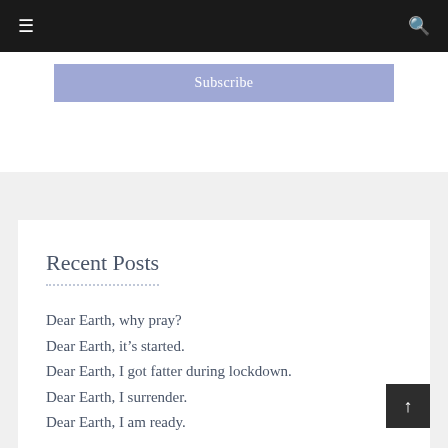≡  🔍
Subscribe
Recent Posts
Dear Earth, why pray?
Dear Earth, it's started.
Dear Earth, I got fatter during lockdown.
Dear Earth, I surrender.
Dear Earth, I am ready.